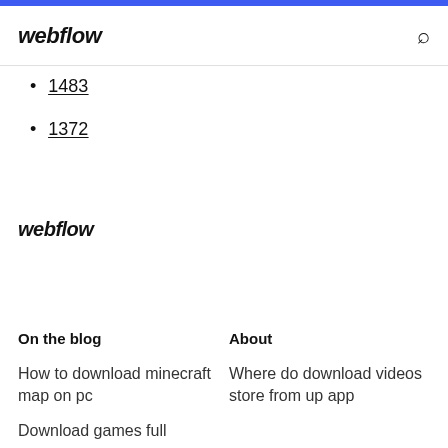webflow
1483
1372
webflow
On the blog
About
How to download minecraft map on pc
Download games full
Where do download videos store from up app